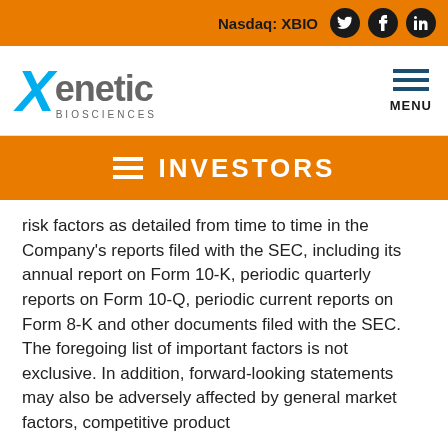Nasdaq: XBIO
[Figure (logo): Xenetic Biosciences logo with blue X and grey text]
INVESTORS
risk factors as detailed from time to time in the Company's reports filed with the SEC, including its annual report on Form 10-K, periodic quarterly reports on Form 10-Q, periodic current reports on Form 8-K and other documents filed with the SEC. The foregoing list of important factors is not exclusive. In addition, forward-looking statements may also be adversely affected by general market factors, competitive product